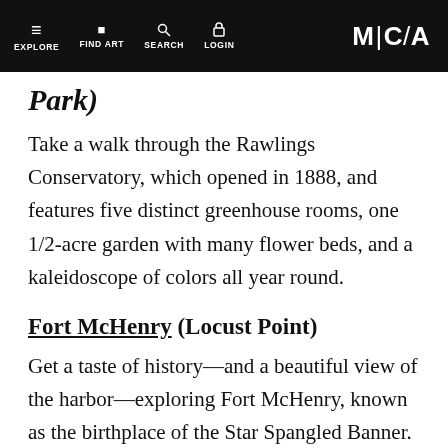EXPLORE  FIND ART  SEARCH  LOGIN  M|C/A
Park)
Take a walk through the Rawlings Conservatory, which opened in 1888, and features five distinct greenhouse rooms, one 1/2-acre garden with many flower beds, and a kaleidoscope of colors all year round.
Fort McHenry (Locust Point)
Get a taste of history—and a beautiful view of the harbor—exploring Fort McHenry, known as the birthplace of the Star Spangled Banner.